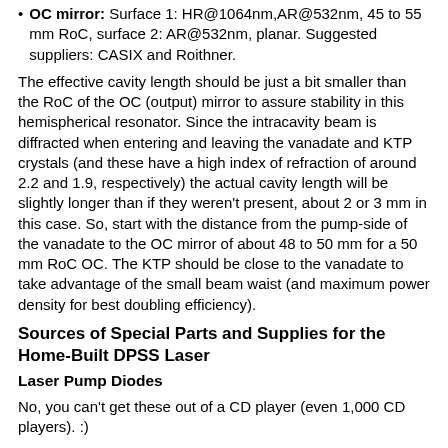OC mirror: Surface 1: HR@1064nm,AR@532nm, 45 to 55 mm RoC, surface 2: AR@532nm, planar. Suggested suppliers: CASIX and Roithner.
The effective cavity length should be just a bit smaller than the RoC of the OC (output) mirror to assure stability in this hemispherical resonator. Since the intracavity beam is diffracted when entering and leaving the vanadate and KTP crystals (and these have a high index of refraction of around 2.2 and 1.9, respectively) the actual cavity length will be slightly longer than if they weren't present, about 2 or 3 mm in this case. So, start with the distance from the pump-side of the vanadate to the OC mirror of about 48 to 50 mm for a 50 mm RoC OC. The KTP should be close to the vanadate to take advantage of the small beam waist (and maximum power density for best doubling efficiency).
Sources of Special Parts and Supplies for the Home-Built DPSS Laser
Laser Pump Diodes
No, you can't get these out of a CD player (even 1,000 CD players). :)
Laser surplus places like MWK Laser Products may sell high ...